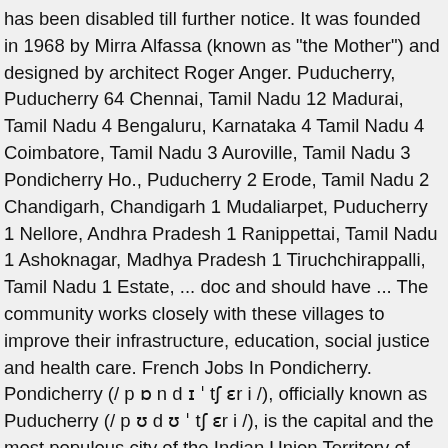has been disabled till further notice. It was founded in 1968 by Mirra Alfassa (known as "the Mother") and designed by architect Roger Anger. Puducherry, Puducherry 64 Chennai, Tamil Nadu 12 Madurai, Tamil Nadu 4 Bengaluru, Karnataka 4 Tamil Nadu 4 Coimbatore, Tamil Nadu 3 Auroville, Tamil Nadu 3 Pondicherry Ho., Puducherry 2 Erode, Tamil Nadu 2 Chandigarh, Chandigarh 1 Mudaliarpet, Puducherry 1 Nellore, Andhra Pradesh 1 Ranippettai, Tamil Nadu 1 Ashoknagar, Madhya Pradesh 1 Tiruchchirappalli, Tamil Nadu 1 Estate, ... doc and should have ... The community works closely with these villages to improve their infrastructure, education, social justice and health care. French Jobs In Pondicherry. Pondicherry (/ p ɒ n d ɪ ˈ tʃ ɛr i /), officially known as Puducherry (/ p ʊ d ʊ ˈ tʃ ɛr i /), is the capital and the most populous city of the Indian Union Territory of Puducherry. Directly connect the recruiter and schedule the Interview at earliest to get hired fast. There are over 108 careers in Auroville... Gijs has 9 jobs listed on their profile. Filter by Verified Listings / Map View / New projects / Rera Registered / Resale / Ready to move in /